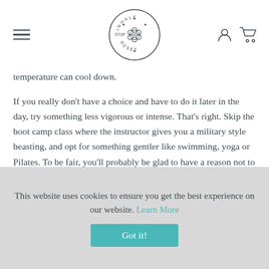STOP INHALE RESET logo with hamburger menu and user/cart icons
temperature can cool down.
If you really don't have a choice and have to do it later in the day, try something less vigorous or intense. That's right. Skip the boot camp class where the instructor gives you a military style beasting, and opt for something gentler like swimming, yoga or Pilates. To be fair, you'll probably be glad to have a reason not to go!
Of course, you may not be able to sleep for other reasons too. Caffeine, alcohol, stress, anxiety, depression, menopause, dehydration, and bedroom environment can all affect sleep quality. So it may be necessary to look at your health, lifestyle and bedroom and make
This website uses cookies to ensure you get the best experience on our website. Learn More
Got it!